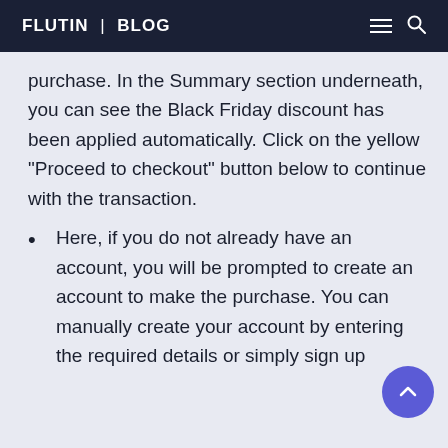FLUTIN | BLOG
purchase. In the Summary section underneath, you can see the Black Friday discount has been applied automatically. Click on the yellow “Proceed to checkout” button below to continue with the transaction.
Here, if you do not already have an account, you will be prompted to create an account to make the purchase. You can manually create your account by entering the required details or simply sign up